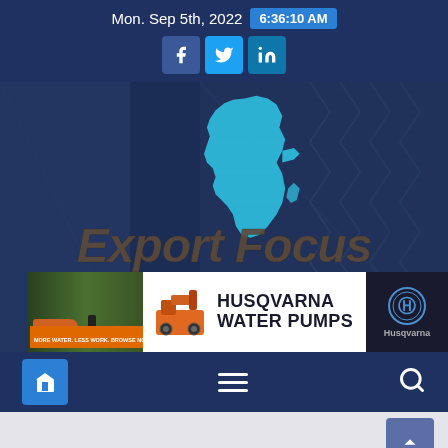Mon. Sep 5th, 2022  6:36:10 AM
[Figure (screenshot): Export Focus Africa website header with logo showing 'Export Focus Africa' text over a dark blue architectural building background with Africa continent map silhouette in cyan/light blue]
[Figure (other): Husqvarna Water Pumps advertisement banner with pump image, brand text, and Husqvarna logo on white/dark background]
Navigation bar with home, menu, and search icons